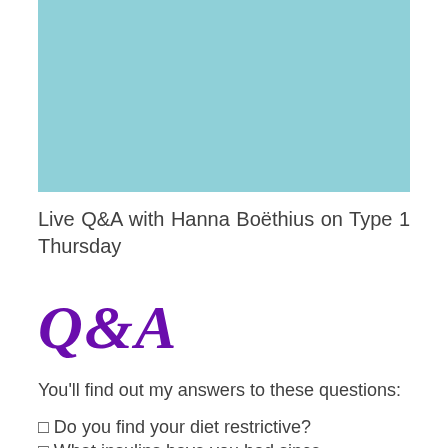[Figure (illustration): Light teal/blue rectangular placeholder image at the top of the page]
Live Q&A with Hanna Boëthius on Type 1 Thursday
[Figure (illustration): Decorative cursive purple Q&A logo/text]
You'll find out my answers to these questions:
⬛ Do you find your diet restrictive?
⬛ What insulins have you had since diagnosis?